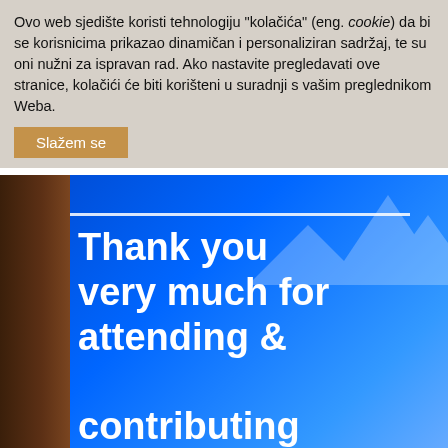Ovo web sjedište koristi tehnologiju "kolačića" (eng. cookie) da bi se korisnicima prikazao dinamičan i personaliziran sadržaj, te su oni nužni za ispravan rad. Ako nastavite pregledavati ove stranice, kolačići će biti korišteni u suradnji s vašim preglednikom Weba.
Slažem se
[Figure (photo): Photo of a presentation slide on a blue screen reading 'Thank you very much for attending & contributing to EGU2018' in large bold white text, with a dark door frame visible on the left edge.]